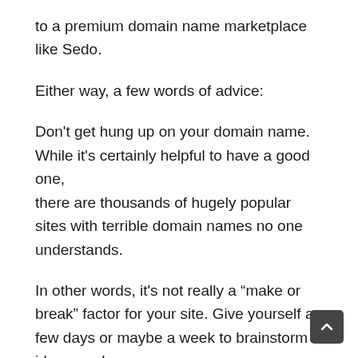to a premium domain name marketplace like Sedo.
Either way, a few words of advice:
Don't get hung up on your domain name. While it's certainly helpful to have a good one, there are thousands of hugely popular sites with terrible domain names no one understands.
In other words, it's not really a “make or break” factor for your site. Give yourself a few days or maybe a week to brainstorm ideas, and then make a decision.